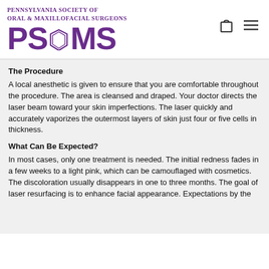[Figure (logo): Pennsylvania Society of Oral & Maxillofacial Surgeons (PSOMS) logo with purple text and keystone symbol]
The Procedure
A local anesthetic is given to ensure that you are comfortable throughout the procedure. The area is cleansed and draped. Your doctor directs the laser beam toward your skin imperfections. The laser quickly and accurately vaporizes the outermost layers of skin just four or five cells in thickness.
What Can Be Expected?
In most cases, only one treatment is needed. The initial redness fades in a few weeks to a light pink, which can be camouflaged with cosmetics. The discoloration usually disappears in one to three months. The goal of laser resurfacing is to enhance facial appearance. Expectations by the